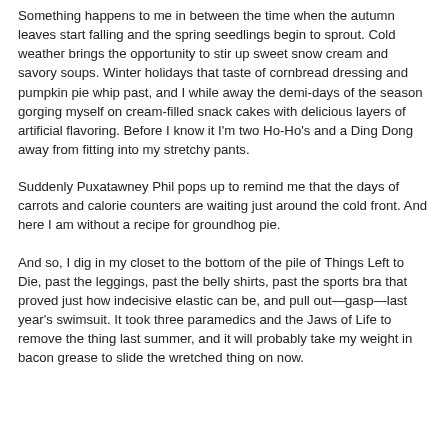Something happens to me in between the time when the autumn leaves start falling and the spring seedlings begin to sprout. Cold weather brings the opportunity to stir up sweet snow cream and savory soups. Winter holidays that taste of cornbread dressing and pumpkin pie whip past, and I while away the demi-days of the season gorging myself on cream-filled snack cakes with delicious layers of artificial flavoring. Before I know it I'm two Ho-Ho's and a Ding Dong away from fitting into my stretchy pants.
Suddenly Puxatawney Phil pops up to remind me that the days of carrots and calorie counters are waiting just around the cold front. And here I am without a recipe for groundhog pie.
And so, I dig in my closet to the bottom of the pile of Things Left to Die, past the leggings, past the belly shirts, past the sports bra that proved just how indecisive elastic can be, and pull out—gasp—last year's swimsuit. It took three paramedics and the Jaws of Life to remove the thing last summer, and it will probably take my weight in bacon grease to slide the wretched thing on now.